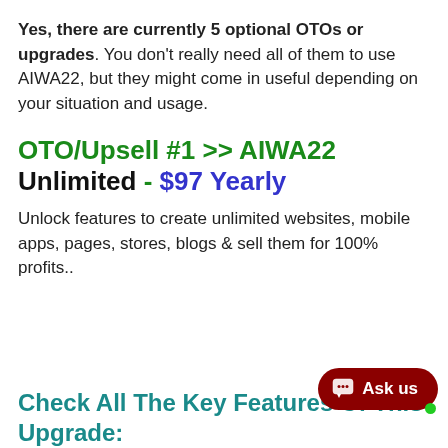Yes, there are currently 5 optional OTOs or upgrades. You don't really need all of them to use AIWA22, but they might come in useful depending on your situation and usage.
OTO/Upsell #1 >> AIWA22 Unlimited - $97 Yearly
Unlock features to create unlimited websites, mobile apps, pages, stores, blogs & sell them for 100% profits..
Check All The Key Features Of This Upgrade: